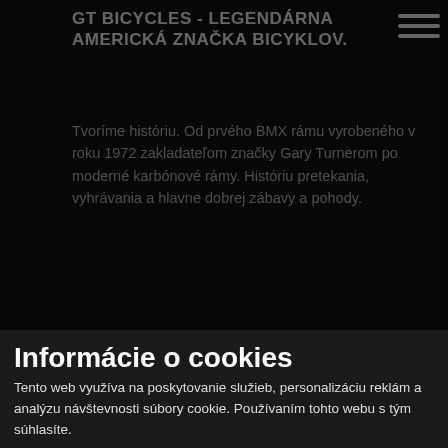GT BICYCLES - LEGENDÁRNA AMERICKÁ ZNAČKA BICYKLOV.
Tvoríme históriu. Od prvého BMX rámu vyrobeného v roku 1972 zakladateľom značky Gary Turnerom po moderné karbónové rámy. Históriu pretekania, vyhrávania a hlavne dobrej zábavy a pohody.
BICYKLE
Informácie o cookies
Celoodpružené MTB
Tento web využíva na poskytovanie služieb, personalizáciu reklám a analýzu návštevnosti súbory cookie. Používaním tohto webu s tým súhlasíte.
Horské
Gravel bike
Krosové
Ďalšie informácie
Dirtjump
BMX
Detské